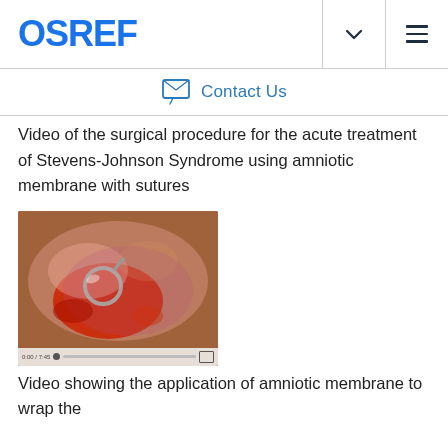OSREF
Video of the surgical procedure for the acute treatment of Stevens-Johnson Syndrome using amniotic membrane with sutures
[Figure (photo): Surgical video thumbnail showing close-up of eye/ocular surface during amniotic membrane application procedure with sutures, with video playback controls at the bottom]
Video showing the application of amniotic membrane to wrap the